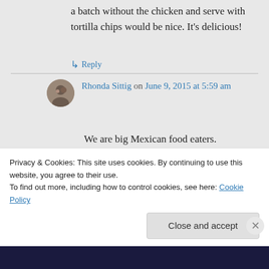a batch without the chicken and serve with tortilla chips would be nice. It's delicious!
↳ Reply
Rhonda Sittig on June 9, 2015 at 5:59 am
We are big Mexican food eaters. This is on my summer list… thanks Seana!
Privacy & Cookies: This site uses cookies. By continuing to use this website, you agree to their use. To find out more, including how to control cookies, see here: Cookie Policy
Close and accept